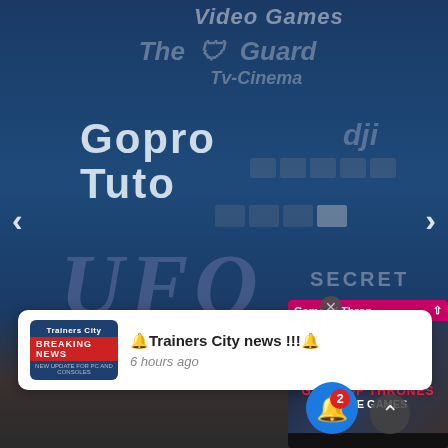[Figure (screenshot): Website screenshot showing a dark blue YouTube-style channel page with overlapping text logos: 'Video Games', 'The Guard Tv-Cinema', 'Gopro', 'Tuto', 'UFO', DJI logo, small icon grids, navigation arrows, a Game of Thrones video popup, a breaking news notification popup, a blue bell notification button with badge showing 2, and a scroll-up chevron button.]